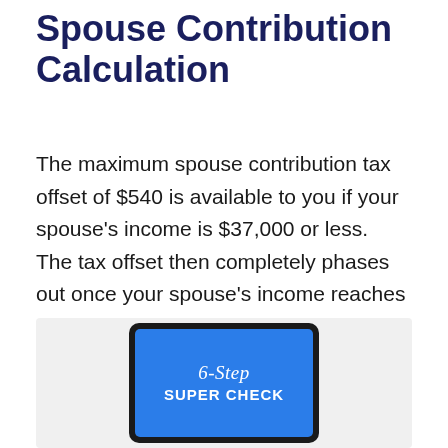Spouse Contribution Calculation
The maximum spouse contribution tax offset of $540 is available to you if your spouse’s income is $37,000 or less. The tax offset then completely phases out once your spouse’s income reaches $40,000 for the year.
[Figure (illustration): A tablet device displaying a blue screen with the text '6-Step SUPER CHECK' in white, shown on a light grey background.]